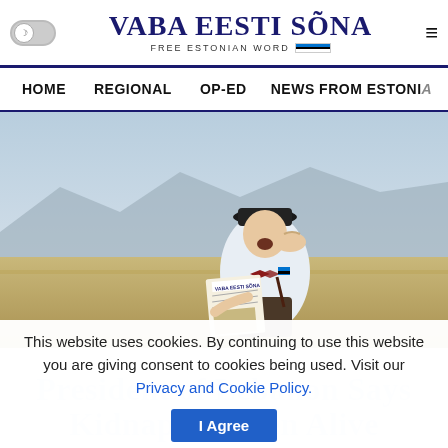VABA EESTI SÕNA — FREE ESTONIAN WORD
HOME | REGIONAL | OP-ED | NEWS FROM ESTONIA
[Figure (photo): A young boy dressed in vintage newsboy attire (hat, bow tie, suspenders) holding a copy of Vaba Eesti Sõna newspaper and shouting, standing in an open desert/rural landscape.]
This website uses cookies. By continuing to use this website you are giving consent to cookies being used. Visit our Privacy and Cookie Policy.
I Agree
President of Lebanon Says Kidnapped Men Alive